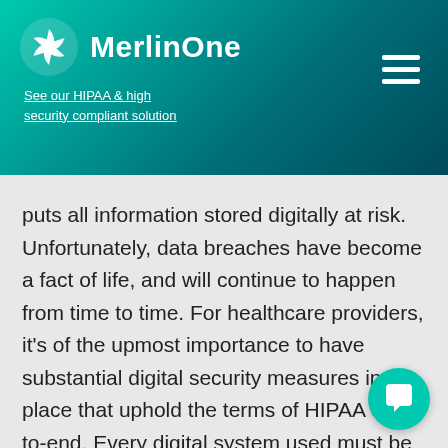MerlinOne — See our HIPAA & high security compliant solution
puts all information stored digitally at risk. Unfortunately, data breaches have become a fact of life, and will continue to happen from time to time. For healthcare providers, it's of the upmost importance to have substantial digital security measures in place that uphold the terms of HIPAA end-to-end. Every digital system used must be HIPAA-compliant, and stored on a secure, password-protected server. For all systems including EHR systems that house patient data, and DAM systems that house proprietary and branded